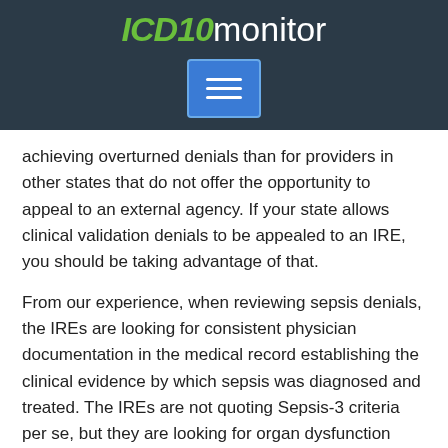[Figure (logo): ICD10monitor logo — green italic bold 'ICD10' and white light 'monitor' on dark navy background, with a blue hamburger menu button below]
achieving overturned denials than for providers in other states that do not offer the opportunity to appeal to an external agency. If your state allows clinical validation denials to be appealed to an IRE, you should be taking advantage of that.
From our experience, when reviewing sepsis denials, the IREs are looking for consistent physician documentation in the medical record establishing the clinical evidence by which sepsis was diagnosed and treated. The IREs are not quoting Sepsis-3 criteria per se, but they are looking for organ dysfunction caused by a dysregulated host response to infection. In order to pass muster for the IREs, there should be documentation that the conditions identified in the